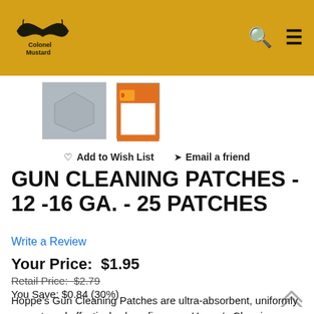[Figure (logo): Colonel Mustard logo with stylized mustache and text on gold/mustard header background]
[Figure (photo): Two product images: a gray square cleaning patch and a Hoppe's No. 9 cleaning patch box with orange packaging]
♡ Add to Wish List   ✉ Email a friend
GUN CLEANING PATCHES - 12 -16 GA. - 25 PATCHES
Write a Review
Your Price:  $1.95
Retail Price:  $2.79
You Save:  $0.84 (30%)
Hoppe's Gun Cleaning Patches are ultra-absorbent, uniformly pre-cut, and effectively clean firearms. Hoppe's Cleaning Patches can